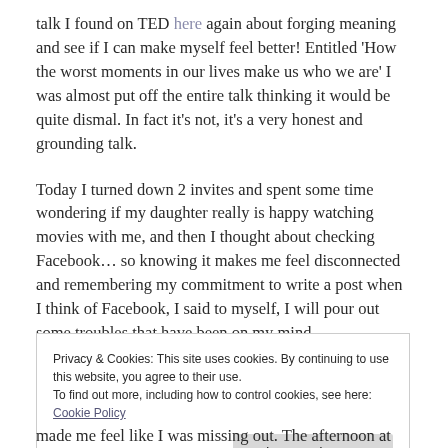talk I found on TED here again about forging meaning and see if I can make myself feel better!  Entitled 'How the worst moments in our lives make us who we are' I was almost put off the entire talk thinking it would be quite dismal.  In fact it's not, it's a very honest and grounding talk.
Today I turned down 2 invites and spent some time wondering if my daughter really is happy watching movies with me, and then I thought about checking Facebook… so knowing it makes me feel disconnected and remembering my commitment to write a post when I think of Facebook, I said to myself, I will pour out some troubles that have been on my mind…
Privacy & Cookies:  This site uses cookies.  By continuing to use this website, you agree to their use. To find out more, including how to control cookies, see here: Cookie Policy
made me feel like I was missing out.  The afternoon at the